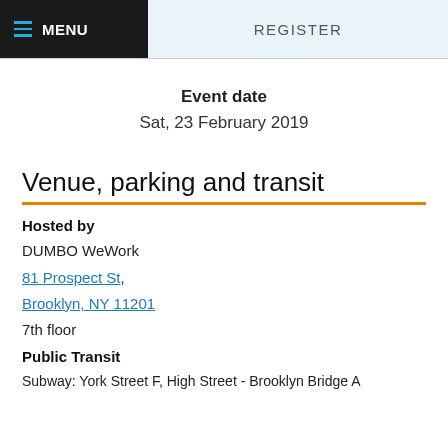MENU  REGISTER
Event date
Sat, 23 February 2019
Venue, parking and transit
Hosted by
DUMBO WeWork
81 Prospect St,
Brooklyn, NY 11201
7th floor
Public Transit
Subway: York Street F, High Street - Brooklyn Bridge A